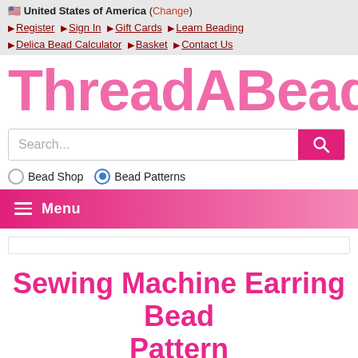🇺🇸 United States of America (Change)
▶ Register ▶ Sign In ▶ Gift Cards ▶ Learn Beading ▶ Delica Bead Calculator ▶ Basket ▶ Contact Us
[Figure (logo): ThreadABead logo in large bold pink text]
Search...
○ Bead Shop ● Bead Patterns
≡ Menu
Sewing Machine Earring Bead Pattern